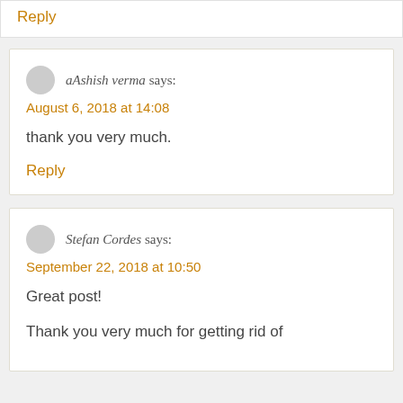Reply
aAshish verma says:
August 6, 2018 at 14:08
thank you very much.
Reply
Stefan Cordes says:
September 22, 2018 at 10:50
Great post!
Thank you very much for getting rid of